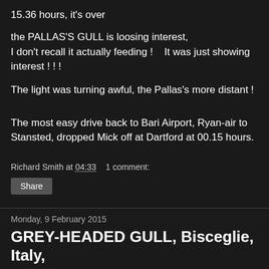15.36 hours, it's over
the PALLAS'S GULL is loosing interest, I don't recall it actually feeding !    It was just showing interest ! ! !
The light was turning awful, the Pallas's more distant !
The most easy drive back to Bari Airport, Ryan-air to Stansted, dropped Mick off at Dartford at 00.15 hours.
Richard Smith at 04:33    1 comment:
Share
Monday, 9 February 2015
GREY-HEADED GULL, Bisceglie, Italy,